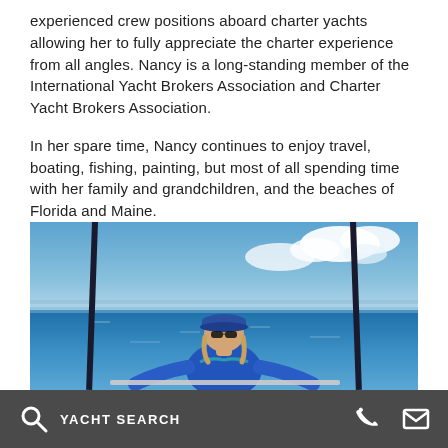experienced crew positions aboard charter yachts allowing her to fully appreciate the charter experience from all angles. Nancy is a long-standing member of the International Yacht Brokers Association and Charter Yacht Brokers Association.
In her spare time, Nancy continues to enjoy travel, boating, fishing, painting, but most of all spending time with her family and grandchildren, and the beaches of Florida and Maine.
[Figure (photo): Woman in blue outfit and cap standing on a boat deck with fishing rods visible, blue ocean and partly cloudy sky in background]
YACHT SEARCH